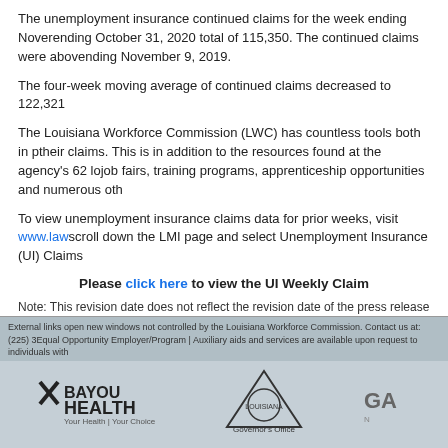The unemployment insurance continued claims for the week ending November [date] ending October 31, 2020 total of 115,350. The continued claims were above [prior period] ending November 9, 2019.
The four-week moving average of continued claims decreased to 122,321 [continued].
The Louisiana Workforce Commission (LWC) has countless tools both in person and online to help claimants file their claims. This is in addition to the resources found at the agency's 62 local offices throughout the state, including job fairs, training programs, apprenticeship opportunities and numerous other services.
To view unemployment insurance claims data for prior weeks, visit www.la[wc.gov] scroll down the LMI page and select Unemployment Insurance (UI) Claims [data].
Please click here to view the UI Weekly Clai[ms data].
Note: This revision date does not reflect the revision date of the press release shown. P[lease note data should] be considered accurate as shown.
External links open new windows not controlled by the Louisiana Workforce Commission. Contact us at: (225) 34[...] Equal Opportunity Employer/Program | Auxiliary aids and services are available upon request to individuals with [disabilities].
[Figure (logo): BayouHealth logo with X icon and tagline 'Your Health | Your Choice']
[Figure (logo): Louisiana Governor's Office logo with state seal]
[Figure (logo): Partial logo: GA[...] text visible]